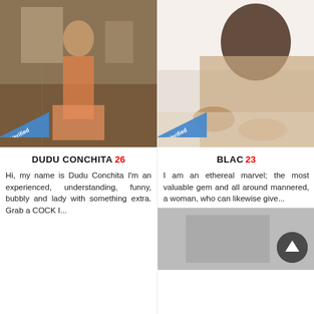[Figure (photo): Woman in orange/gold traditional dress standing in a room, Verified badge in lower left corner]
[Figure (photo): Person lying on a bed, Verified badge in lower left corner]
DUDU CONCHITA 26
BLAC 23
Hi, my name is Dudu Conchita I'm an experienced, understanding, funny, bubbly and lady with something extra. Grab a COCK I...
I am an ethereal marvel; the most valuable gem and all around mannered, a woman, who can likewise give...
[Figure (photo): Partial third listing photo visible at bottom right]